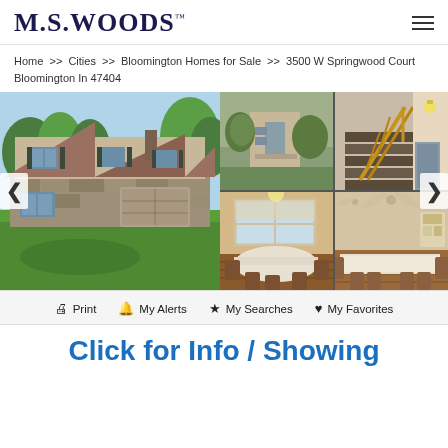M.S.WOODS
Home >> Cities >> Bloomington Homes for Sale >> 3500 W Springwood Court Bloomington In 47404
[Figure (photo): Photo gallery of a residential home at 3500 W Springwood Court Bloomington IN 47404. Large main image showing exterior front view of tan/beige split-level house with green lawn. Four thumbnail images showing: front entrance with bushes, interior staircase, dining room with wooden table and chairs, and another dining/living room view.]
Print   My Alerts   My Searches   My Favorites
Click for Info / Showing